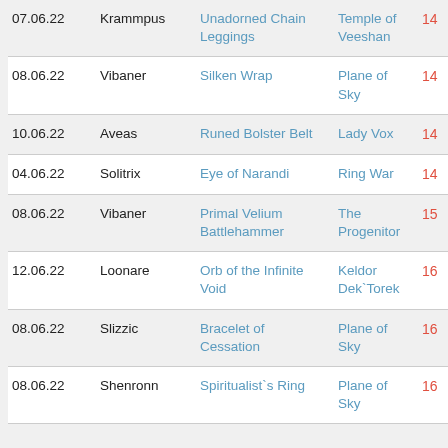| Date | Player | Item | Zone | # |
| --- | --- | --- | --- | --- |
| 07.06.22 | Krammpus | Unadorned Chain Leggings | Temple of Veeshan | 14 |
| 08.06.22 | Vibaner | Silken Wrap | Plane of Sky | 14 |
| 10.06.22 | Aveas | Runed Bolster Belt | Lady Vox | 14 |
| 04.06.22 | Solitrix | Eye of Narandi | Ring War | 14 |
| 08.06.22 | Vibaner | Primal Velium Battlehammer | The Progenitor | 15 |
| 12.06.22 | Loonare | Orb of the Infinite Void | Keldor Dek`Torek | 16 |
| 08.06.22 | Slizzic | Bracelet of Cessation | Plane of Sky | 16 |
| 08.06.22 | Shenronn | Spiritualist`s Ring | Plane of Sky | 16 |